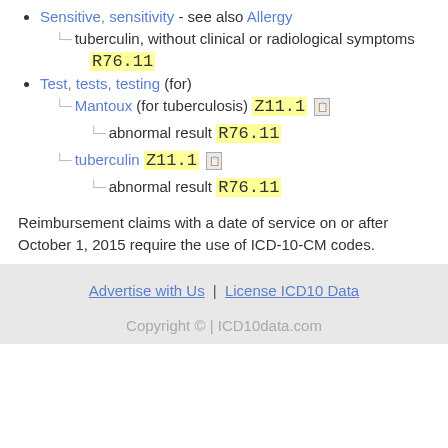Sensitive, sensitivity - see also Allergy
  tuberculin, without clinical or radiological symptoms R76.11
Test, tests, testing (for)
  Mantoux (for tuberculosis) Z11.1
    abnormal result R76.11
  tuberculin Z11.1
    abnormal result R76.11
Reimbursement claims with a date of service on or after October 1, 2015 require the use of ICD-10-CM codes.
Advertise with Us | License ICD10 Data
Copyright © | ICD10data.com